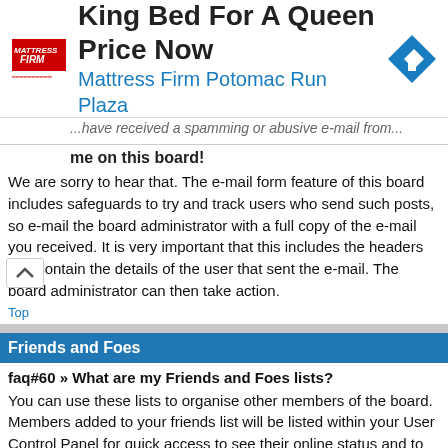[Figure (other): Mattress Firm advertisement banner with logo, text 'King Bed For A Queen Price Now' and 'Mattress Firm Potomac Run Plaza', and a blue navigation arrow icon]
...have received a spamming or abusive e-mail from...
me on this board!
We are sorry to hear that. The e-mail form feature of this board includes safeguards to try and track users who send such posts, so e-mail the board administrator with a full copy of the e-mail you received. It is very important that this includes the headers that contain the details of the user that sent the e-mail. The board administrator can then take action.
Top
Friends and Foes
faq#60 » What are my Friends and Foes lists?
You can use these lists to organise other members of the board. Members added to your friends list will be listed within your User Control Panel for quick access to see their online status and to send them private messages. Subject to template support, posts from these users may also be highlighted. If you add a user to your foes list, any posts they make will be hidden by default.